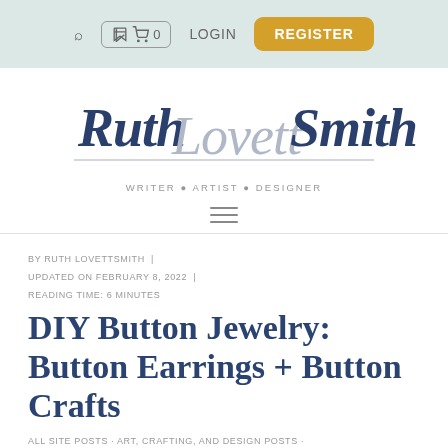🔍  🛒 0   LOGIN   REGISTER
[Figure (logo): Ruth Lovett Smith cursive script logo with tagline WRITER • ARTIST • DESIGNER]
BY RUTH LOVETTSMITH  |  UPDATED ON FEBRUARY 8, 2022  |  READING TIME: 6 MINUTES
DIY Button Jewelry: Button Earrings + Button Crafts
ALL SITE POSTS · ART, CRAFTING, AND DESIGN POSTS · CRAFTING TIPS · DIY PROJECTS · JEWELRY